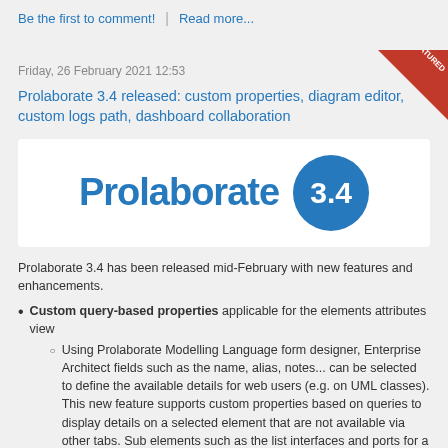Be the first to comment!  |  Read more...
Friday, 26 February 2021 12:53
Prolaborate 3.4 released: custom properties, diagram editor, custom logs path, dashboard collaboration
[Figure (logo): Prolaborate 3.4 logo: blue text 'Prolaborate' with a blue circle containing '3.4' on white background]
Prolaborate 3.4 has been released mid-February with new features and enhancements.
Custom query-based properties applicable for the elements attributes view
Using Prolaborate Modelling Language form designer, Enterprise Architect fields such as the name, alias, notes... can be selected to define the available details for web users (e.g. on UML classes). This new feature supports custom properties based on queries to display details on a selected element that are not available via other tabs. Sub elements such as the list interfaces and ports for a component is an example of what can be rendered with this new feature.
Diagram Editor
Prolaborate and Enterprise Architect are part of Sparx Systems